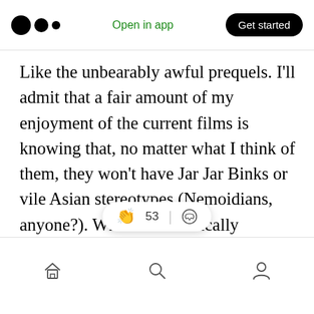Medium logo | Open in app | Get started
Like the unbearably awful prequels. I'll admit that a fair amount of my enjoyment of the current films is knowing that, no matter what I think of them, they won't have Jar Jar Binks or vile Asian stereotypes (Nemoidians, anyone?). Which automatically improves them in a way only people who skipped home room to see Phantom Menace can appreciate. But, awful as they were, I have to admit that the weird, off-putting aspects of the prequels are in keeping with the general gobberish you see in
Home | Search | Profile